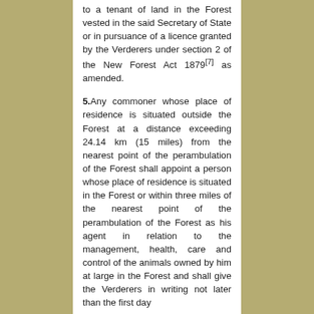to a tenant of land in the Forest vested in the said Secretary of State or in pursuance of a licence granted by the Verderers under section 2 of the New Forest Act 1879[7] as amended.
5. Any commoner whose place of residence is situated outside the Forest at a distance exceeding 24.14 km (15 miles) from the nearest point of the perambulation of the Forest shall appoint a person whose place of residence is situated in the Forest or within three miles of the nearest point of the perambulation of the Forest as his agent in relation to the management, health, care and control of the animals owned by him at large in the Forest and shall give the Verderers in writing not later than the first day